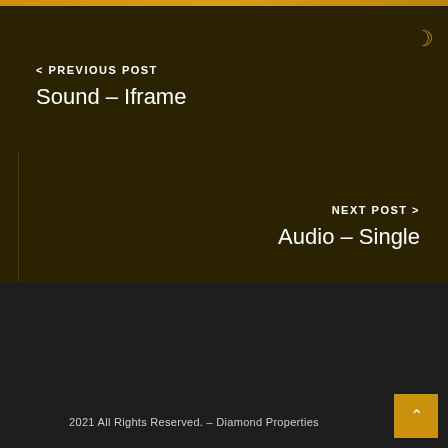< PREVIOUS POST
Sound – Iframe
NEXT POST >
Audio – Single
2021 All Rights Reserved. – Diamond Properties